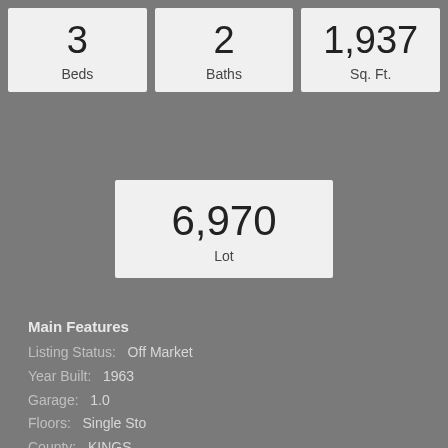| Beds | Baths | Sq. Ft. |
| --- | --- | --- |
| 3 | 2 | 1,937 |
| Lot |
| --- |
| 6,970 |
Main Features
Listing Status:   Off Market
Year Built:   1963
Garage:   1.0
Floors:   Single Sto
County:   KINGS
MLS Number:   578351